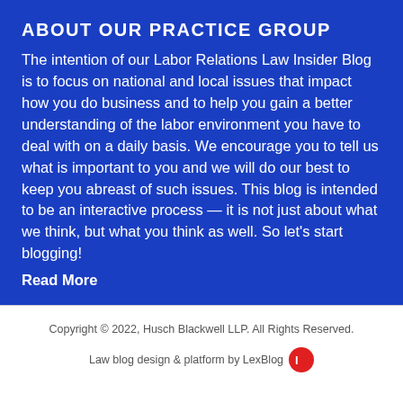ABOUT OUR PRACTICE GROUP
The intention of our Labor Relations Law Insider Blog is to focus on national and local issues that impact how you do business and to help you gain a better understanding of the labor environment you have to deal with on a daily basis. We encourage you to tell us what is important to you and we will do our best to keep you abreast of such issues. This blog is intended to be an interactive process — it is not just about what we think, but what you think as well. So let's start blogging!
Read More
Copyright © 2022, Husch Blackwell LLP. All Rights Reserved.
Law blog design & platform by LexBlog